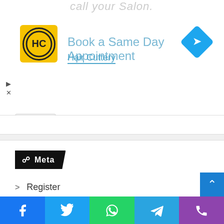[Figure (screenshot): Advertisement banner for Hair Cuttery showing logo, 'Book a Same Day Appointment' headline, and navigation diamond icon]
Meta
Register
Log in
Entries feed
Comments feed
WordPress.org
[Figure (infographic): Social media share buttons: Facebook, Twitter, WhatsApp, Telegram, Phone]